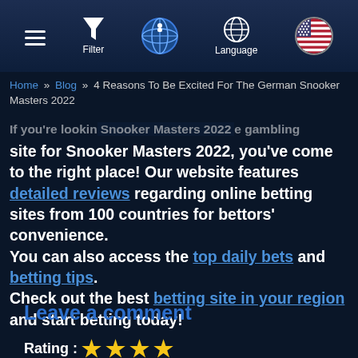Navigation bar with hamburger menu, Filter, globe icon, Language, and US flag
Home » Blog » 4 Reasons To Be Excited For The German Snooker Masters 2022
If you're lookin Snooker Masters 2022 e gambling site for Snooker Masters 2022, you've come to the right place! Our website features detailed reviews regarding online betting sites from 100 countries for bettors' convenience. You can also access the top daily bets and betting tips. Check out the best betting site in your region and start betting today!
Leave a comment
Rating : ★★★★